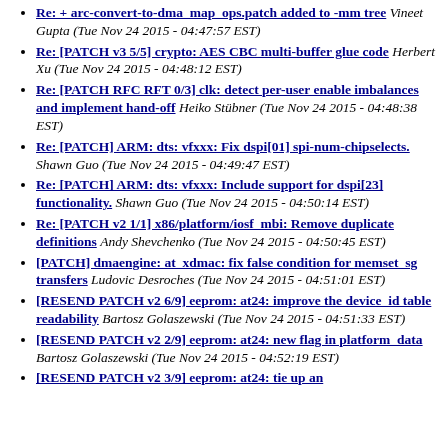Re: + arc-convert-to-dma_map_ops.patch added to -mm tree Vineet Gupta (Tue Nov 24 2015 - 04:47:57 EST)
Re: [PATCH v3 5/5] crypto: AES CBC multi-buffer glue code Herbert Xu (Tue Nov 24 2015 - 04:48:12 EST)
Re: [PATCH RFC RFT 0/3] clk: detect per-user enable imbalances and implement hand-off Heiko Stübner (Tue Nov 24 2015 - 04:48:38 EST)
Re: [PATCH] ARM: dts: vfxxx: Fix dspi[01] spi-num-chipselects. Shawn Guo (Tue Nov 24 2015 - 04:49:47 EST)
Re: [PATCH] ARM: dts: vfxxx: Include support for dspi[23] functionality. Shawn Guo (Tue Nov 24 2015 - 04:50:14 EST)
Re: [PATCH v2 1/1] x86/platform/iosf_mbi: Remove duplicate definitions Andy Shevchenko (Tue Nov 24 2015 - 04:50:45 EST)
[PATCH] dmaengine: at_xdmac: fix false condition for memset_sg transfers Ludovic Desroches (Tue Nov 24 2015 - 04:51:01 EST)
[RESEND PATCH v2 6/9] eeprom: at24: improve the device_id table readability Bartosz Golaszewski (Tue Nov 24 2015 - 04:51:33 EST)
[RESEND PATCH v2 2/9] eeprom: at24: new flag in platform_data Bartosz Golaszewski (Tue Nov 24 2015 - 04:52:19 EST)
[RESEND PATCH v2 3/9] eeprom: at24: tie up an